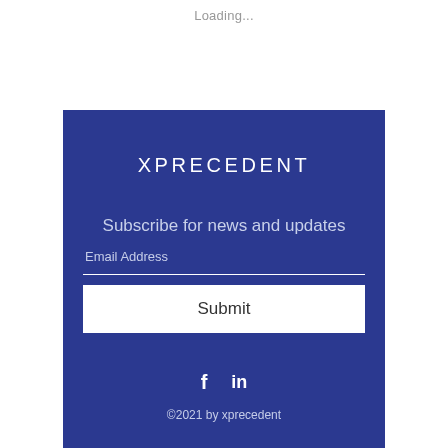Loading...
XPRECEDENT
Subscribe for news and updates
Email Address
Submit
[Figure (illustration): Social media icons: Facebook (f) and LinkedIn (in)]
©2021 by xprecedent